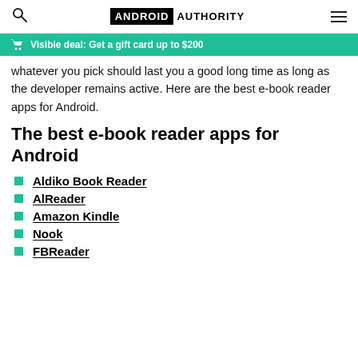ANDROID AUTHORITY
Visible deal: Get a gift card up to $200
whatever you pick should last you a good long time as long as the developer remains active. Here are the best e-book reader apps for Android.
The best e-book reader apps for Android
Aldiko Book Reader
AlReader
Amazon Kindle
Nook
FBReader